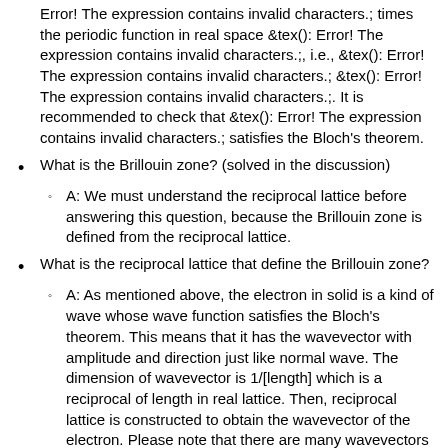Error! The expression contains invalid characters.; times the periodic function in real space &tex(): Error! The expression contains invalid characters.;, i.e., &tex(): Error! The expression contains invalid characters.; &tex(): Error! The expression contains invalid characters.;. It is recommended to check that &tex(): Error! The expression contains invalid characters.; satisfies the Bloch's theorem.
What is the Brillouin zone? (solved in the discussion)
A: We must understand the reciprocal lattice before answering this question, because the Brillouin zone is defined from the reciprocal lattice.
What is the reciprocal lattice that define the Brillouin zone?
A: As mentioned above, the electron in solid is a kind of wave whose wave function satisfies the Bloch's theorem. This means that it has the wavevector with amplitude and direction just like normal wave. The dimension of wavevector is 1/[length] which is a reciprocal of length in real lattice. Then, reciprocal lattice is constructed to obtain the wavevector of the electron. Please note that there are many wavevectors possibly obtained from the reciprocal space. The unit